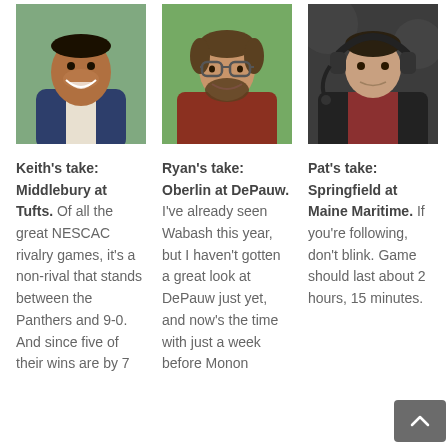[Figure (photo): Headshot of Keith, a man smiling in a suit jacket]
Keith's take: Middlebury at Tufts. Of all the great NESCAC rivalry games, it's a non-rival that stands between the Panthers and 9-0. And since five of their wins are by 7
[Figure (photo): Headshot of Ryan, a man with glasses and a beard outdoors]
Ryan's take: Oberlin at DePauw. I've already seen Wabash this year, but I haven't gotten a great look at DePauw just yet, and now's the time with just a week before Monon
[Figure (photo): Headshot of Pat, a man wearing a headset microphone]
Pat's take: Springfield at Maine Maritime. If you're following, don't blink. Game should last about 2 hours, 15 minutes.